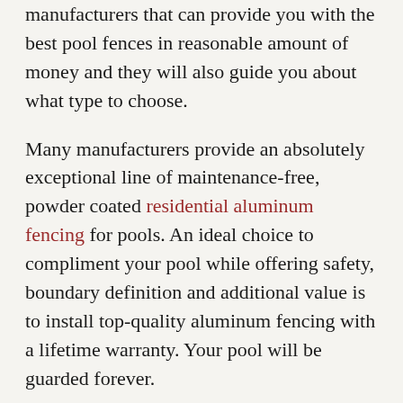manufacturers that can provide you with the best pool fences in reasonable amount of money and they will also guide you about what type to choose.
Many manufacturers provide an absolutely exceptional line of maintenance-free, powder coated residential aluminum fencing for pools. An ideal choice to compliment your pool while offering safety, boundary definition and additional value is to install top-quality aluminum fencing with a lifetime warranty. Your pool will be guarded forever.
Aluminum is one of the most widely used metals in